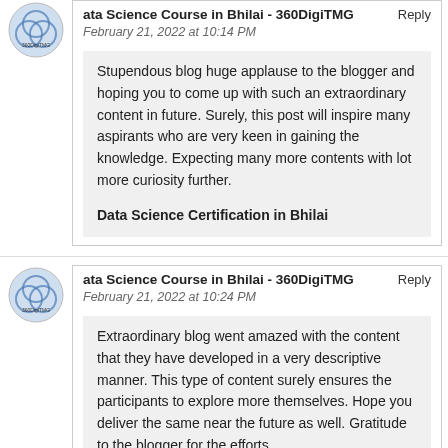ata Science Course in Bhilai - 360DigiTMG
February 21, 2022 at 10:14 PM
Stupendous blog huge applause to the blogger and hoping you to come up with such an extraordinary content in future. Surely, this post will inspire many aspirants who are very keen in gaining the knowledge. Expecting many more contents with lot more curiosity further.

Data Science Certification in Bhilai
ata Science Course in Bhilai - 360DigiTMG
February 21, 2022 at 10:24 PM
Extraordinary blog went amazed with the content that they have developed in a very descriptive manner. This type of content surely ensures the participants to explore more themselves. Hope you deliver the same near the future as well. Gratitude to the blogger for the efforts.